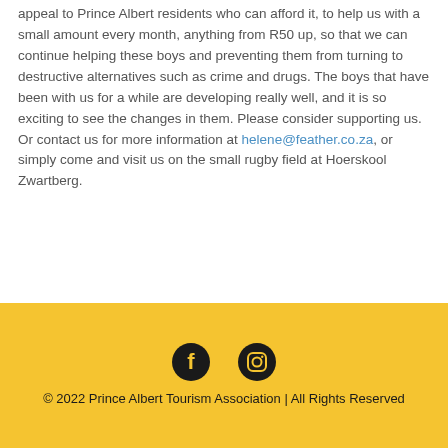and boys food and other essentials. We would like to appeal to Prince Albert residents who can afford it, to help us with a small amount every month, anything from R50 up, so that we can continue helping these boys and preventing them from turning to destructive alternatives such as crime and drugs. The boys that have been with us for a while are developing really well, and it is so exciting to see the changes in them. Please consider supporting us. Or contact us for more information at helene@feather.co.za, or simply come and visit us on the small rugby field at Hoerskool Zwartberg.
© 2022 Prince Albert Tourism Association | All Rights Reserved